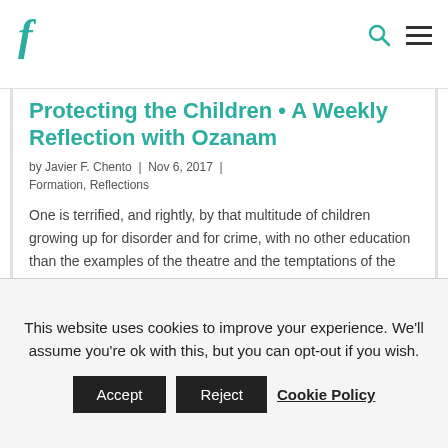F [logo]
Protecting the Children • A Weekly Reflection with Ozanam
by Javier F. Chento | Nov 6, 2017 | Formation, Reflections
One is terrified, and rightly, by that multitude of children growing up for disorder and for crime, with no other education than the examples of the theatre and the temptations of the public square. It is not well known that in district
This website uses cookies to improve your experience. We'll assume you're ok with this, but you can opt-out if you wish.
Accept  Reject  Cookie Policy